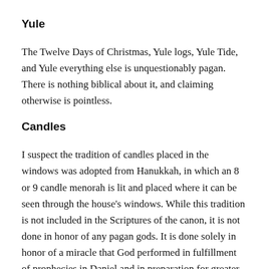Yule
The Twelve Days of Christmas, Yule logs, Yule Tide, and Yule everything else is unquestionably pagan. There is nothing biblical about it, and claiming otherwise is pointless.
Candles
I suspect the tradition of candles placed in the windows was adopted from Hanukkah, in which an 8 or 9 candle menorah is lit and placed where it can be seen through the house's windows. While this tradition is not included in the Scriptures of the canon, it is not done in honor of any pagan gods. It is done solely in honor of a miracle that God performed in fulfillment of prophecies in Daniel and in preparation for greater fulfillments to come. I say light 'em up.